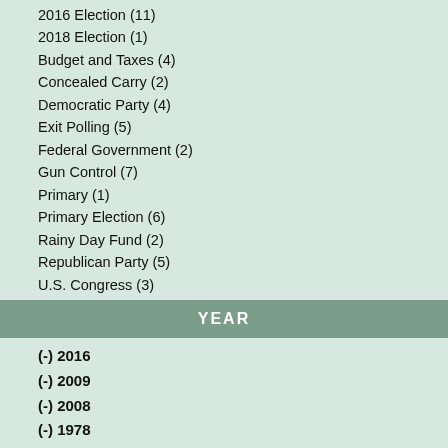2016 Election (11)
2018 Election (1)
Budget and Taxes (4)
Concealed Carry (2)
Democratic Party (4)
Exit Polling (5)
Federal Government (2)
Gun Control (7)
Primary (1)
Primary Election (6)
Rainy Day Fund (2)
Republican Party (5)
U.S. Congress (3)
YEAR
(-) 2016
(-) 2009
(-) 2008
(-) 1978